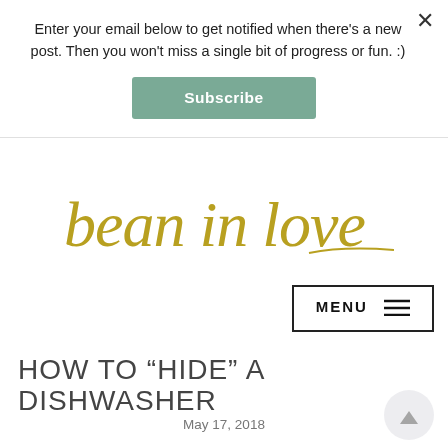Enter your email below to get notified when there's a new post. Then you won't miss a single bit of progress or fun. :)
Subscribe
[Figure (logo): Bean in Love blog logo in gold cursive script handwriting]
MENU
HOW TO “HIDE” A DISHWASHER
May 17, 2018